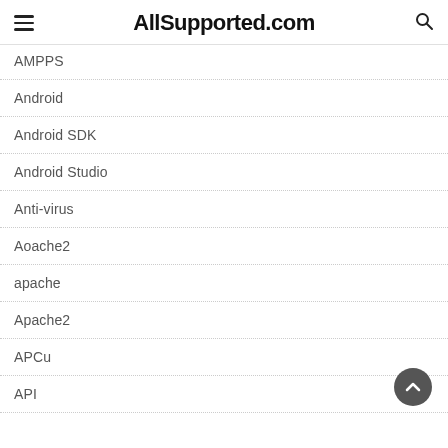AllSupported.com
AMPPS
Android
Android SDK
Android Studio
Anti-virus
Aoache2
apache
Apache2
APCu
API